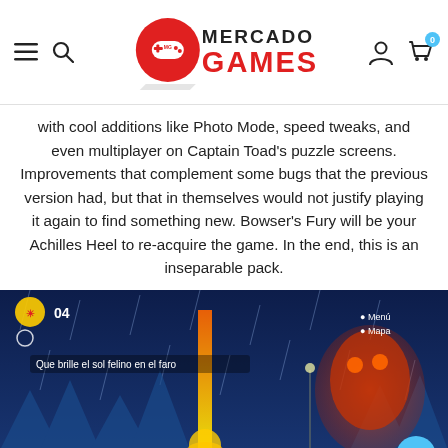Mercado Games navigation header with logo, hamburger menu, search, user account, and cart icons
with cool additions like Photo Mode, speed tweaks, and even multiplayer on Captain Toad's puzzle screens. Improvements that complement some bugs that the previous version had, but that in themselves would not justify playing it again to find something new. Bowser's Fury will be your Achilles Heel to re-acquire the game. In the end, this is an inseparable pack.
[Figure (screenshot): In-game screenshot from Super Mario 3D World + Bowser's Fury showing a snowy level with a large flame pillar, giant Bowser in the background, HUD showing 4 lives and a sun cat badge, objective text reading 'Que brille el sol felino en el faro', and menu/map button prompts in top right corner.]